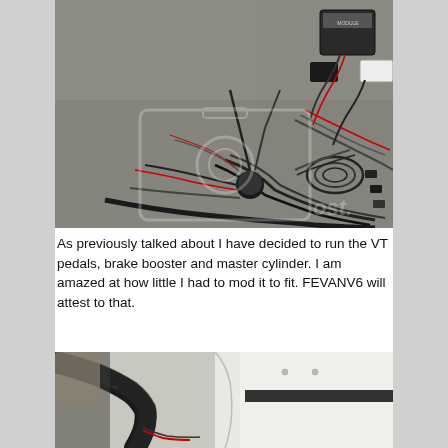[Figure (photo): Overhead view of automotive wiring harness and electronic modules spread out on a concrete floor, with a watermark overlay.]
As previously talked about I have decided to run the VT pedals, brake booster and master cylinder. I am amazed at how little I had to mod it to fit. FEVANV6 will attest to that.
[Figure (photo): Partial view of car interior/firewall area showing black wrapped wiring harness and white interior panels.]